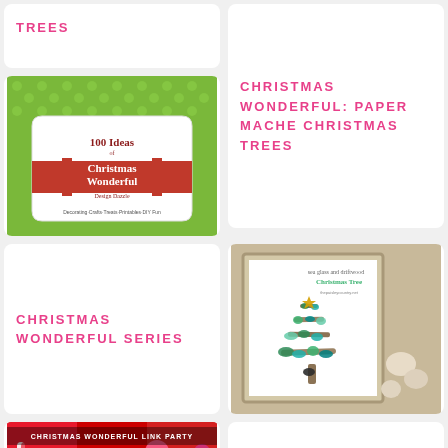TREES
CHRISTMAS WONDERFUL: PAPER MACHE CHRISTMAS TREES
[Figure (illustration): Book cover: 100 Ideas of Christmas Wonderful, Design Dazzle, Decorating-Crafts-Treats-Printables-DIY Fun, green polka dot background with red banner]
CHRISTMAS WONDERFUL SERIES
[Figure (photo): Sea glass and driftwood Christmas Tree art in a rustic frame, with text overlay 'sea glass and driftwood Christmas Tree']
[Figure (photo): Christmas Wonderful Link Party image with colorful holiday items]